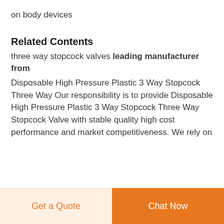on body devices
Related Contents
three way stopcock valves leading manufacturer from
Disposable High Pressure Plastic 3 Way Stopcock Three Way Our responsibility is to provide Disposable High Pressure Plastic 3 Way Stopcock Three Way Stopcock Valve with stable quality high cost performance and market competitiveness. We rely on